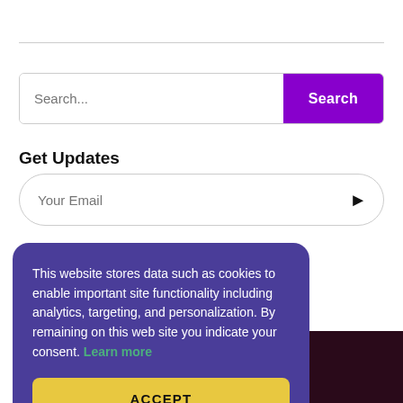[Figure (screenshot): Horizontal rule separator line]
[Figure (screenshot): Search bar with text input placeholder 'Search...' and a purple Search button]
Get Updates
[Figure (screenshot): Email input field with placeholder 'Your Email' and a right-arrow submit button, rounded pill shape]
This website stores data such as cookies to enable important site functionality including analytics, targeting, and personalization. By remaining on this web site you indicate your consent. Learn more
[Figure (screenshot): ACCEPT button, yellow background with dark bold text]